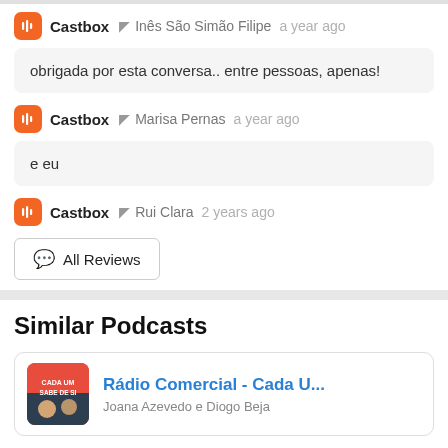Castbox  Inês São Simão Filipe  a year ago
obrigada por esta conversa.. entre pessoas, apenas!
Castbox  Marisa Pernas  a year ago
e eu
Castbox  Rui Clara  2 years ago
All Reviews
Similar Podcasts
Rádio Comercial - Cada U...
Joana Azevedo e Diogo Beja